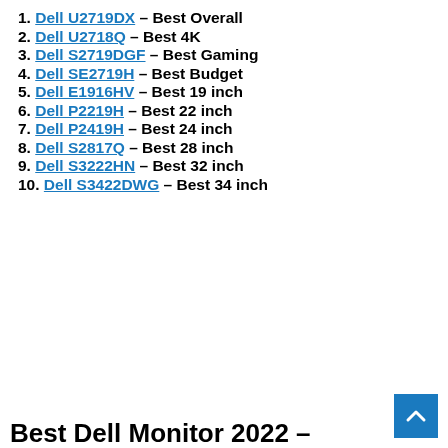1. Dell U2719DX – Best Overall
2. Dell U2718Q – Best 4K
3. Dell S2719DGF – Best Gaming
4. Dell SE2719H – Best Budget
5. Dell E1916HV – Best 19 inch
6. Dell P2219H – Best 22 inch
7. Dell P2419H – Best 24 inch
8. Dell S2817Q – Best 28 inch
9. Dell S3222HN – Best 32 inch
10. Dell S3422DWG – Best 34 inch
Best Dell Monitor 2022 –